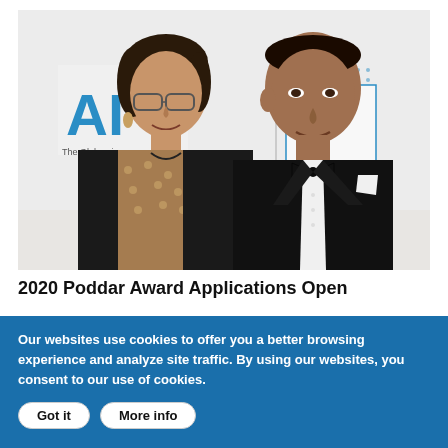[Figure (photo): Two people posing for a photo at a formal event. A woman with glasses on the left wearing a patterned top, and a man on the right in a tuxedo with a bow tie. A backdrop with partial text 'AI' and 'The Global... Engineers' is visible behind them.]
2020 Poddar Award Applications Open
Our websites use cookies to offer you a better browsing experience and analyze site traffic. By using our websites, you consent to our use of cookies.
Got it   More info